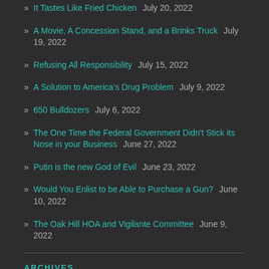It Tastes Like Fried Chicken  July 20, 2022
A Movie, A Concession Stand, and a Brinks Truck  July 19, 2022
Refusing All Responsibility  July 15, 2022
A Solution to America's Drug Problem  July 9, 2022
650 Bulldozers  July 6, 2022
The One Time the Federal Government Didn't Stick its Nose in your Business  June 27, 2022
Putin is the new God of Evil  June 23, 2022
Would You Enlist to be Able to Purchase a Gun?  June 10, 2022
The Oak Hill HOA and Vigilante Committee  June 9, 2022
ARCHIVES